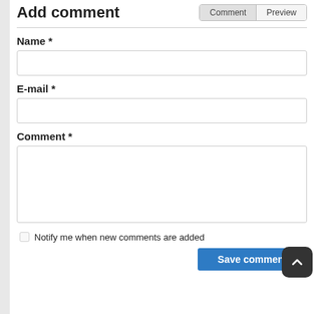Add comment
Comment | Preview
Name *
E-mail *
Comment *
Notify me when new comments are added
Save comment